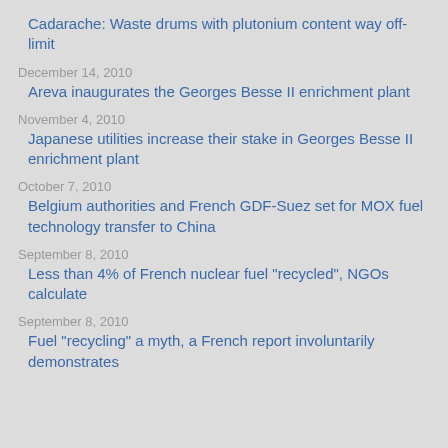Cadarache: Waste drums with plutonium content way off-limit
December 14, 2010
Areva inaugurates the Georges Besse II enrichment plant
November 4, 2010
Japanese utilities increase their stake in Georges Besse II enrichment plant
October 7, 2010
Belgium authorities and French GDF-Suez set for MOX fuel technology transfer to China
September 8, 2010
Less than 4% of French nuclear fuel "recycled", NGOs calculate
September 8, 2010
Fuel "recycling" a myth, a French report involuntarily demonstrates